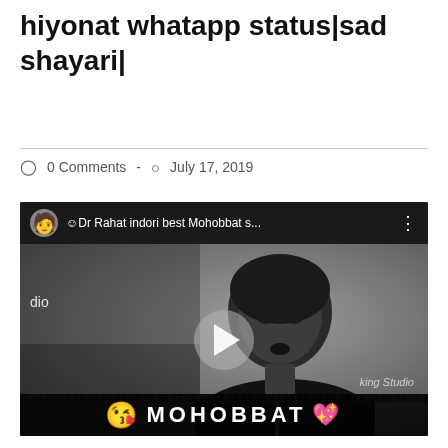hiyonat whatapp status|sad shayari|
0 Comments  -  July 17, 2019
[Figure (screenshot): YouTube video thumbnail showing Dr Rahat Indori, a man speaking at a microphone in black and white. The video title reads 'Dr Rahat indori best Mohobbat s...'. At the bottom a banner reads MOHOBBAT with kiss-face and heart emojis.]